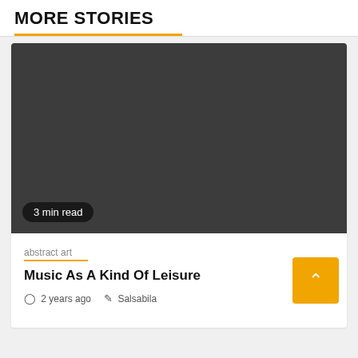MORE STORIES
[Figure (photo): Dark gray placeholder image for article thumbnail, with a '3 min read' badge in the bottom left corner.]
abstract art
Music As A Kind Of Leisure
2 years ago   Salsabila